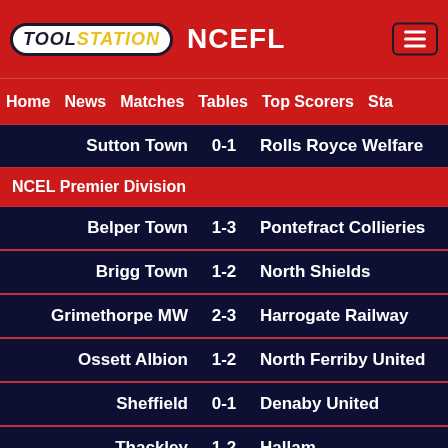TOOLSTATION NCEFL
Home  News  Matches  Tables  Top Scorers  Sta
Sutton Town 0-1 Rolls Royce Welfare
NCEL Premier Division
Belper Town 1-3 Pontefract Collieries
Brigg Town 1-2 North Shields
Grimethorpe MW 2-3 Harrogate Railway
Ossett Albion 1-2 North Ferriby United
Sheffield 0-1 Denaby United
Thackley 1-2 Hallam
NCEL Division One
BSC Parkgate 0-0 Maltby Miners Welf
Collingham 1-5 Ossett Town